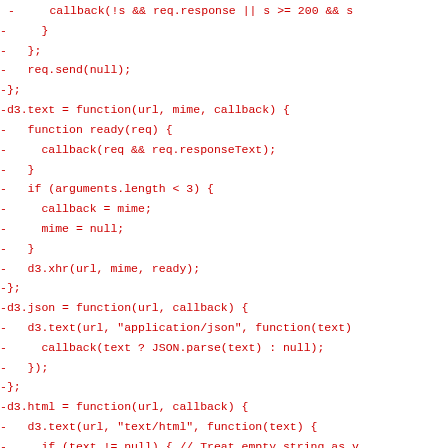- callback(!s && req.response || s >= 200 && s
-     }
-   };
-   req.send(null);
-};
-d3.text = function(url, mime, callback) {
-   function ready(req) {
-     callback(req && req.responseText);
-   }
-   if (arguments.length < 3) {
-     callback = mime;
-     mime = null;
-   }
-   d3.xhr(url, mime, ready);
-};
-d3.json = function(url, callback) {
-   d3.text(url, "application/json", function(text)
-     callback(text ? JSON.parse(text) : null);
-   });
-};
-d3.html = function(url, callback) {
-   d3.text(url, "text/html", function(text) {
-     if (text != null) { // Treat empty string as v
-       var range = document.createRange();
-       range.selectNode(document.body);
-       text = range.createContextualFragment(text);
-     }
-     callback(text);
-   });
-};